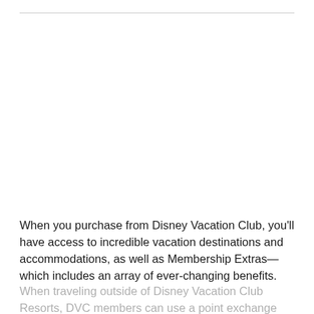When you purchase from Disney Vacation Club, you'll have access to incredible vacation destinations and accommodations, as well as Membership Extras—which includes an array of ever-changing benefits.
When traveling outside of Disney Vacation Club Resorts, DVC members can use a point exchange